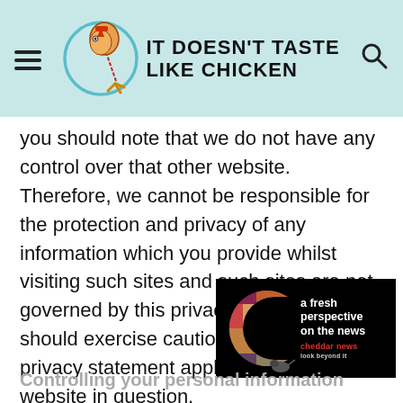[Figure (logo): It Doesn't Taste Like Chicken website header with hamburger menu, circular logo with chicken illustration, site name text, and search icon on teal/mint background]
you should note that we do not have any control over that other website. Therefore, we cannot be responsible for the protection and privacy of any information which you provide whilst visiting such sites and such sites are not governed by this privacy statement. You should exercise caution and look at the privacy statement applicable to the website in question.
[Figure (other): Cheddar News advertisement with C logo made of photo collage, text reading 'a fresh perspective on the news', cheddar news logo]
Controlling your personal information